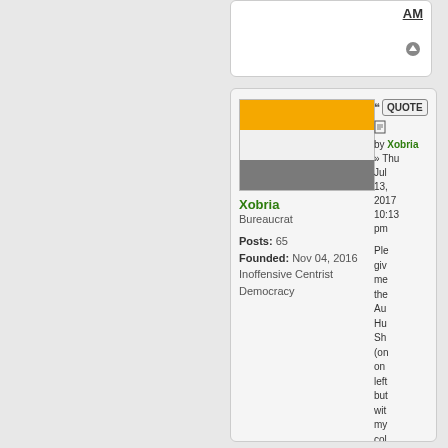[Figure (screenshot): Partial forum post showing 'AM' text and navigation icon]
[Figure (screenshot): Forum post by Xobria with flag image, user info, quote button, post date and partial post text]
AM
[Figure (illustration): Flag with orange top stripe, white middle stripe, and gray bottom stripe]
Xobria
Bureaucrat
Posts: 65
Founded: Nov 04, 2016
Inoffensive Centrist Democracy
QUOTE
by Xobria » Thu Jul 13, 2017 10:13 pm
Ple give me the Au Hu Sh (on on left but wit my col